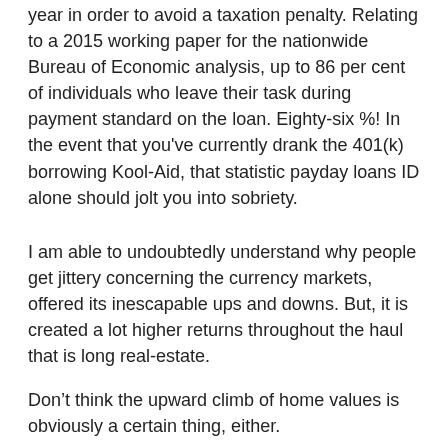year in order to avoid a taxation penalty. Relating to a 2015 working paper for the nationwide Bureau of Economic analysis, up to 86 per cent of individuals who leave their task during payment standard on the loan. Eighty-six %! In the event that you've currently drank the 401(k) borrowing Kool-Aid, that statistic payday loans ID alone should jolt you into sobriety.
I am able to undoubtedly understand why people get jittery concerning the currency markets, offered its inescapable ups and downs. But, it is created a lot higher returns throughout the haul that is long real-estate.
Don't think the upward climb of home values is obviously a certain thing, either.
“Buying a property is not constantly a venture that is